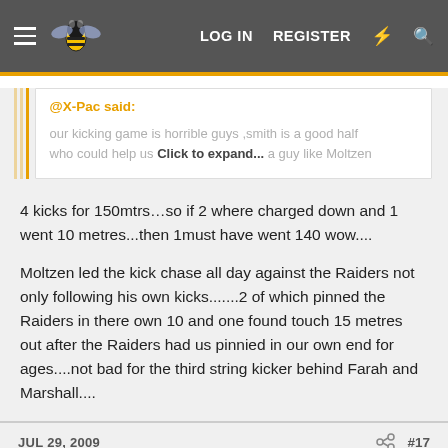LOG IN  REGISTER
@X-Pac said:

our kicking game is horrible guys ,smith is a good half who could help us ...a guy like Moltzen
Click to expand...
4 kicks for 150mtrs…so if 2 where charged down and 1 went 10 metres...then 1must have went 140 wow....
Moltzen led the kick chase all day against the Raiders not only following his own kicks.......2 of which pinned the Raiders in there own 10 and one found touch 15 metres out after the Raiders had us pinnied in our own end for ages....not bad for the third string kicker behind Farah and Marshall....
JUL 29, 2009  #17